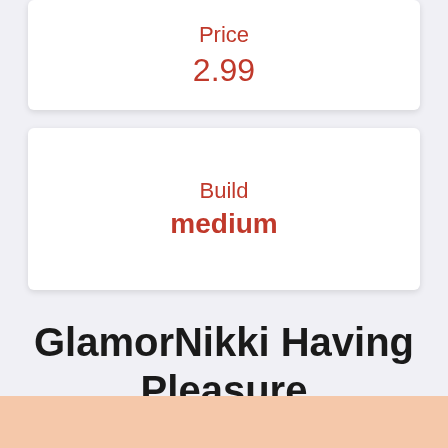Price
2.99
Build
medium
GlamorNikki Having Pleasure
[Figure (photo): Partial view of a peach/skin-toned image at the bottom of the page]